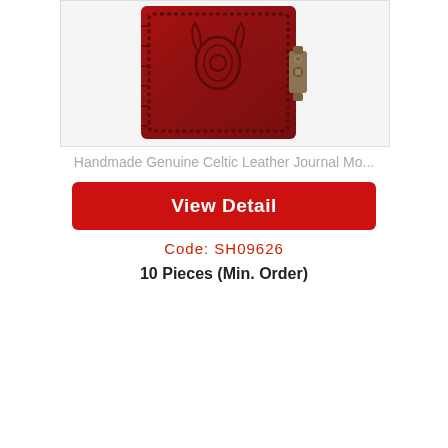[Figure (photo): Red handmade genuine Celtic leather journal with embossed design and brass metal clasp/lock on the right side. The cover is dark red/burgundy with a decorative border and a Celtic symbol embossed in the center.]
Handmade Genuine Celtic Leather Journal Mo...
View Detail
Code: SH09626
10 Pieces (Min. Order)